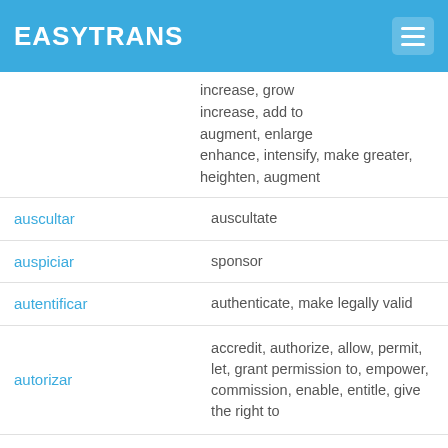EASYTRANS
increase, grow
increase, add to
augment, enlarge
enhance, intensify, make greater, heighten, augment
| term | definition |
| --- | --- |
| auscultar | auscultate |
| auspiciar | sponsor |
| autentificar | authenticate, make legally valid |
| autorizar | accredit, authorize, allow, permit, let, grant permission to, empower, commission, enable, entitle, give the right to |
| auxiliar | assist, help, aid |
| aventajar | outrival |